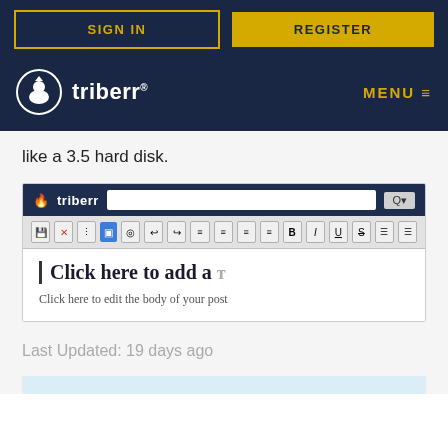SIGN IN | REGISTER
[Figure (logo): Triberr logo with navigation bar showing MENU icon]
like a 3.5 hard disk.
[Figure (screenshot): Screenshot of Triberr post editor interface showing toolbar with formatting options, a title placeholder 'Click here to add a' and body placeholder 'Click here to edit the body of your post']
Last Updated: 19 days ago